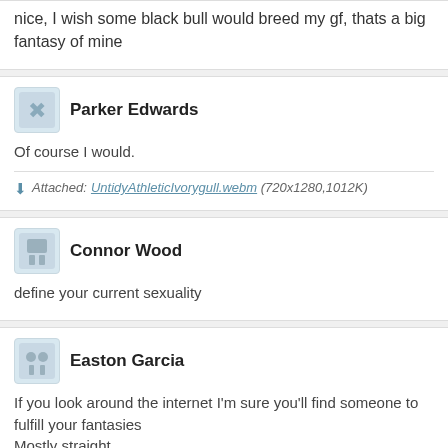nice, I wish some black bull would breed my gf, thats a big fantasy of mine
Parker Edwards
Of course I would.
Attached: UntidyAthleticIvorygull.webm (720x1280, 1012K)
Connor Wood
define your current sexuality
Easton Garcia
If you look around the internet I'm sure you'll find someone to fulfill your fantasies
Mostly straight.
Attached: 1546559037496_0.webm (760x576, 466K)